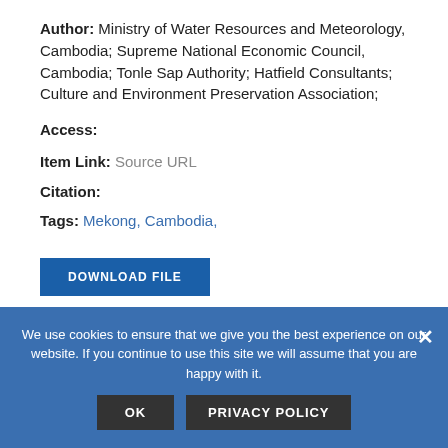Author: Ministry of Water Resources and Meteorology, Cambodia; Supreme National Economic Council, Cambodia; Tonle Sap Authority; Hatfield Consultants; Culture and Environment Preservation Association;
Access:
Item Link: Source URL
Citation:
Tags: Mekong, Cambodia,
DOWNLOAD FILE
We use cookies to ensure that we give you the best experience on our website. If you continue to use this site we will assume that you are happy with it.
OK
PRIVACY POLICY